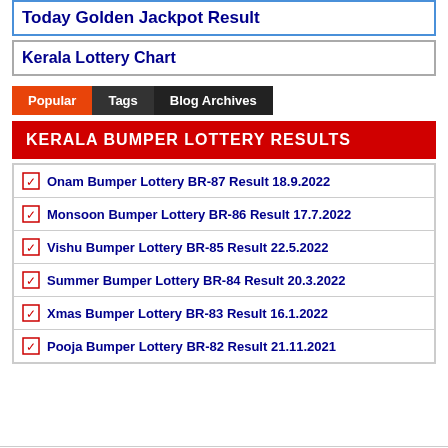Today Golden Jackpot Result
Kerala Lottery Chart
Popular | Tags | Blog Archives
KERALA BUMPER LOTTERY RESULTS
Onam Bumper Lottery BR-87 Result 18.9.2022
Monsoon Bumper Lottery BR-86 Result 17.7.2022
Vishu Bumper Lottery BR-85 Result 22.5.2022
Summer Bumper Lottery BR-84 Result 20.3.2022
Xmas Bumper Lottery BR-83 Result 16.1.2022
Pooja Bumper Lottery BR-82 Result 21.11.2021